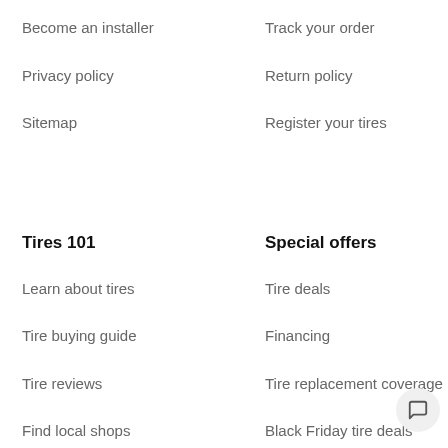Become an installer
Track your order
Privacy policy
Return policy
Sitemap
Register your tires
Tires 101
Special offers
Learn about tires
Tire deals
Tire buying guide
Financing
Tire reviews
Tire replacement coverage
Find local shops
Black Friday tire deals
Cyber Monday tire deals